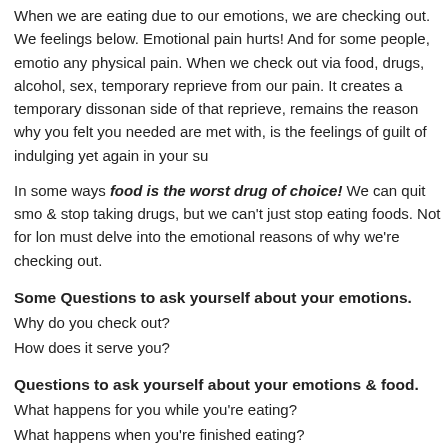When we are eating due to our emotions, we are checking out. We feelings below. Emotional pain hurts! And for some people, emotio any physical pain. When we check out via food, drugs, alcohol, sex, temporary reprieve from our pain. It creates a temporary dissonan side of that reprieve, remains the reason why you felt you needed are met with, is the feelings of guilt of indulging yet again in your su
In some ways food is the worst drug of choice! We can quit smo & stop taking drugs, but we can't just stop eating foods. Not for lon must delve into the emotional reasons of why we're checking out.
Some Questions to ask yourself about your emotions.
Why do you check out?
How does it serve you?
Questions to ask yourself about your emotions & food.
What happens for you while you're eating?
What happens when you're finished eating?
What emotions surface during? after?
Choose what you're eating